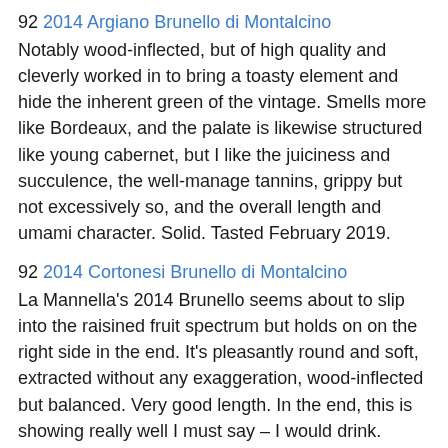92 2014 Argiano Brunello di Montalcino
Notably wood-inflected, but of high quality and cleverly worked in to bring a toasty element and hide the inherent green of the vintage. Smells more like Bordeaux, and the palate is likewise structured like young cabernet, but I like the juiciness and succulence, the well-manage tannins, grippy but not excessively so, and the overall length and umami character. Solid. Tasted February 2019.
92 2014 Cortonesi Brunello di Montalcino
La Mannella's 2014 Brunello seems about to slip into the raisined fruit spectrum but holds on on the right side in the end. It's pleasantly round and soft, extracted without any exaggeration, wood-inflected but balanced. Very good length. In the end, this is showing really well I must say – I would drink. Some quality juice here. Tasted February 2019.
92 2014 Fattoi Brunello di Montalcino
Earthy, with smoked, toasted wood influence off the top, nutmeg and cinnamon – can't quite place this in the new or old world style category. The palate is certainly more firm and tart than expected, tightly wound, quite succulent and juicy, dusty